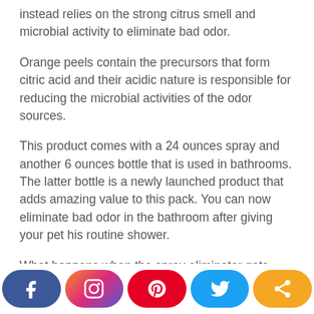instead relies on the strong citrus smell and microbial activity to eliminate bad odor.
Orange peels contain the precursors that form citric acid and their acidic nature is responsible for reducing the microbial activities of the odor sources.
This product comes with a 24 ounces spray and another 6 ounces bottle that is used in bathrooms. The latter bottle is a newly launched product that adds amazing value to this pack. You can now eliminate bad odor in the bathroom after giving your pet his routine shower.
What happens when the spray eliminator gets depleted? Don't worry, you can refill it and continue
[Figure (other): Social media share buttons bar: Facebook, Instagram, Pinterest, Twitter, Share]